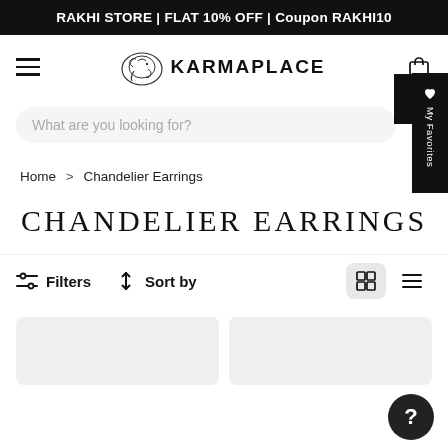RAKHI STORE | FLAT 10% OFF | Coupon RAKHI10
[Figure (logo): KarmaPlace logo with elephant illustration and KARMAPLACE text]
What are you looking for?
Home > Chandelier Earrings
CHANDELIER EARRINGS
Filters   Sort by
[Figure (screenshot): Two product card placeholders at bottom of page]